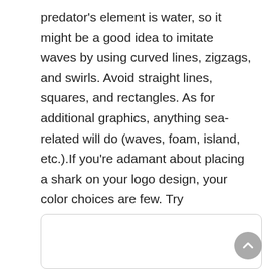predator's element is water, so it might be a good idea to imitate waves by using curved lines, zigzags, and swirls. Avoid straight lines, squares, and rectangles. As for additional graphics, anything sea-related will do (waves, foam, island, etc.).If you're adamant about placing a shark on your logo design, your color choices are few. Try combinations of black, white, green, and shades of blue. Avoid the mistake of painting your emblem red (or any other warm shade, for that matter) unless you want to create instant associations with blood and death.
[Figure (other): A rounded rectangle box (comment or input area) at the bottom of the page, with a grey circular scroll-to-top button in the bottom-right corner containing an upward chevron arrow.]